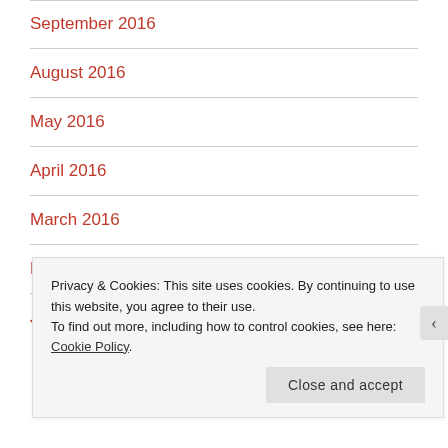September 2016
August 2016
May 2016
April 2016
March 2016
February 2016
January 2016
Privacy & Cookies: This site uses cookies. By continuing to use this website, you agree to their use.
To find out more, including how to control cookies, see here: Cookie Policy
Close and accept